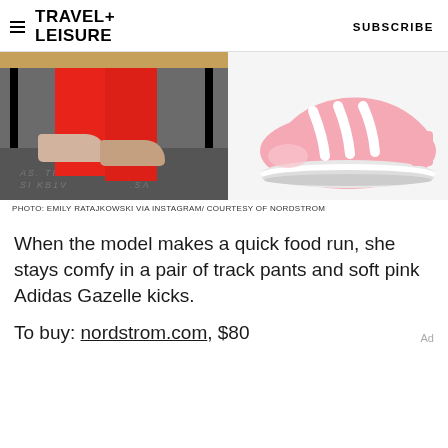TRAVEL+ LEISURE   SUBSCRIBE
[Figure (photo): Left: Emily Ratajkowski wearing red track pants and beige Adidas Gazelle sneakers, seated, legs visible from knee down. Right: Pink Adidas Gazelle sneaker on white background.]
PHOTO: EMILY RATAJKOWSKI VIA INSTAGRAM/ COURTESY OF NORDSTROM
When the model makes a quick food run, she stays comfy in a pair of track pants and soft pink Adidas Gazelle kicks.
To buy: nordstrom.com, $80